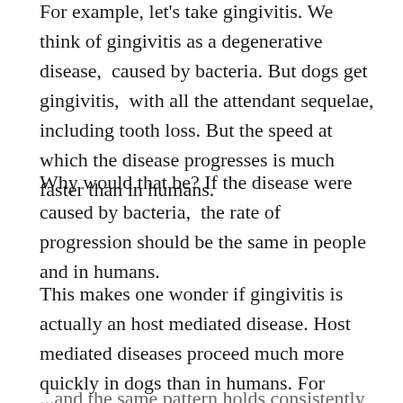For example, let's take gingivitis. We think of gingivitis as a degenerative disease, caused by bacteria. But dogs get gingivitis, with all the attendant sequelae, including tooth loss. But the speed at which the disease progresses is much faster than in humans.
Why would that be? If the disease were caused by bacteria, the rate of progression should be the same in people and in humans.
This makes one wonder if gingivitis is actually an host mediated disease. Host mediated diseases proceed much more quickly in dogs than in humans. For example, dogs develop osteoarthritis much faster than in people. Same with cancer.
...and the same pattern holds consistently throughout related...